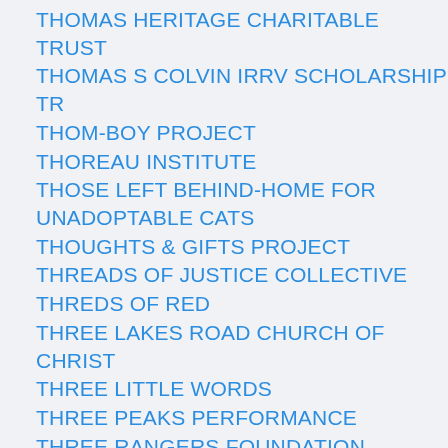THOMAS HERITAGE CHARITABLE TRUST
THOMAS S COLVIN IRRV SCHOLARSHIP TR
THOM-BOY PROJECT
THOREAU INSTITUTE
THOSE LEFT BEHIND-HOME FOR UNADOPTABLE CATS
THOUGHTS & GIFTS PROJECT
THREADS OF JUSTICE COLLECTIVE
THREDS OF RED
THREE LAKES ROAD CHURCH OF CHRIST
THREE LITTLE WORDS
THREE PEAKS PERFORMANCE
THREE RANGERS FOUNDATION
THREE RIVERS ARCHERS
THREE RIVERS ARTIST GUILD
THREE RIVERS CARE FOR KIDS FOUNDATION INC